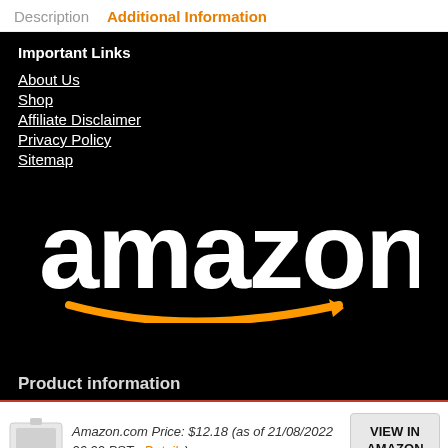Description   Additional Information
Important Links
About Us
Shop
Affiliate Disclaimer
Privacy Policy
Sitemap
[Figure (logo): Amazon logo: white 'amazon' text with orange smile/arrow beneath, on black background]
Product information
Amazon.com Price: $12.18 (as of 21/08/2022 06:00 PST- Details)